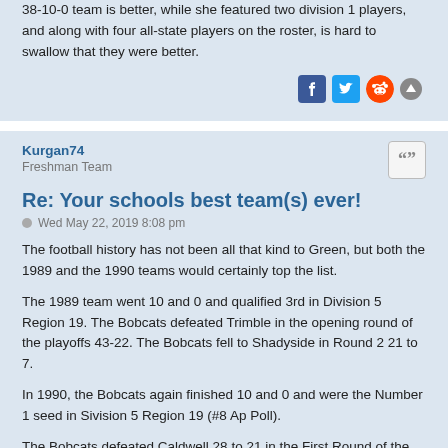38-10-0 team is better, while she featured two division 1 players, and along with four all-state players on the roster, is hard to swallow that they were better.
[Figure (illustration): Social media sharing icons: Facebook (blue square), Twitter (blue square), Reddit (alien logo), and an up-arrow/scroll-to-top button]
Kurgan74
Freshman Team
Re: Your schools best team(s) ever!
Wed May 22, 2019 8:08 pm
The football history has not been all that kind to Green, but both the 1989 and the 1990 teams would certainly top the list.
The 1989 team went 10 and 0 and qualified 3rd in Division 5 Region 19. The Bobcats defeated Trimble in the opening round of the playoffs 43-22. The Bobcats fell to Shadyside in Round 2 21 to 7.
In 1990, the Bobcats again finished 10 and 0 and were the Number 1 seed in Sivision 5 Region 19 (#8 Ap Poll).
The Bobcats defeated Caldwell 28 to 21 in the First Round of the 1990 playoffs. Green fell in the Regional Finals the following week to Newark